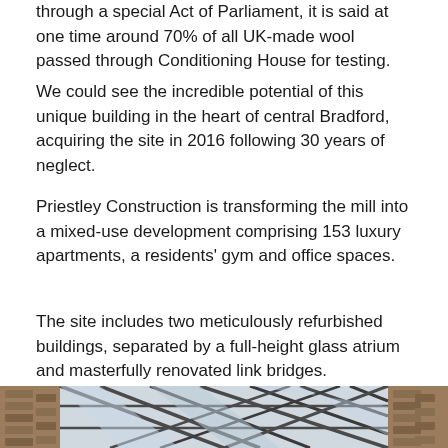through a special Act of Parliament, it is said at one time around 70% of all UK-made wool passed through Conditioning House for testing.
We could see the incredible potential of this unique building in the heart of central Bradford, acquiring the site in 2016 following 30 years of neglect.
Priestley Construction is transforming the mill into a mixed-use development comprising 153 luxury apartments, a residents' gym and office spaces.
The site includes two meticulously refurbished buildings, separated by a full-height glass atrium and masterfully renovated link bridges.
[Figure (photo): Photograph of a glass atrium with structural steel framework seen from below, with brick walls on either side.]